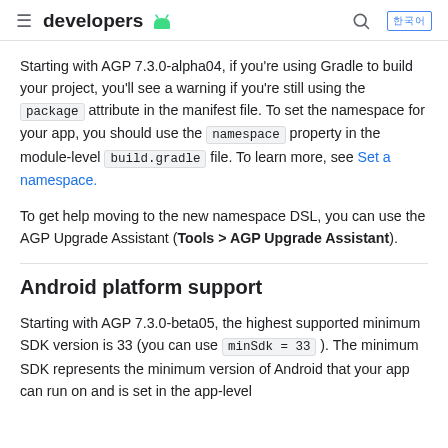developers
Starting with AGP 7.3.0-alpha04, if you're using Gradle to build your project, you'll see a warning if you're still using the package attribute in the manifest file. To set the namespace for your app, you should use the namespace property in the module-level build.gradle file. To learn more, see Set a namespace.
To get help moving to the new namespace DSL, you can use the AGP Upgrade Assistant (Tools > AGP Upgrade Assistant).
Android platform support
Starting with AGP 7.3.0-beta05, the highest supported minimum SDK version is 33 (you can use minSdk = 33). The minimum SDK represents the minimum version of Android that your app can run on and is set in the app-level